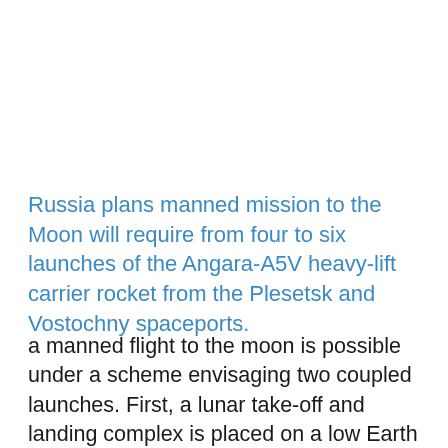Russia plans manned mission to the Moon will require from four to six launches of the Angara-A5V heavy-lift carrier rocket from the Plesetsk and Vostochny spaceports.
a manned flight to the moon is possible under a scheme envisaging two coupled launches. First, a lunar take-off and landing complex is placed on a low Earth orbit, and then the upper stage with effective cryogenic propellants is orbited. The third